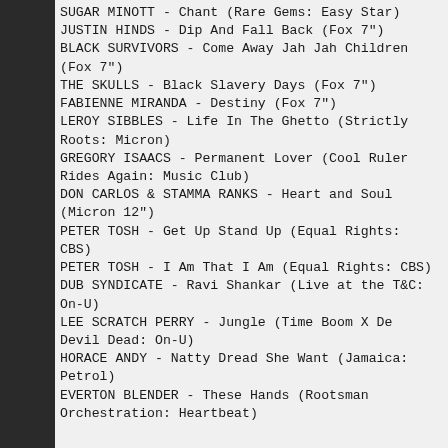SUGAR MINOTT - Chant (Rare Gems: Easy Star)
JUSTIN HINDS - Dip And Fall Back (Fox 7")
BLACK SURVIVORS - Come Away Jah Jah Children (Fox 7")
THE SKULLS - Black Slavery Days (Fox 7")
FABIENNE MIRANDA - Destiny (Fox 7")
LEROY SIBBLES - Life In The Ghetto (Strictly Roots: Micron)
GREGORY ISAACS - Permanent Lover (Cool Ruler Rides Again: Music Club)
DON CARLOS & STAMMA RANKS - Heart and Soul (Micron 12")
PETER TOSH - Get Up Stand Up (Equal Rights: CBS)
PETER TOSH - I Am That I Am (Equal Rights: CBS)
DUB SYNDICATE - Ravi Shankar (Live at the T&C: On-U)
LEE SCRATCH PERRY - Jungle (Time Boom X De Devil Dead: On-U)
HORACE ANDY - Natty Dread She Want (Jamaica: Petrol)
EVERTON BLENDER - These Hands (Rootsman Orchestration: Heartbeat)